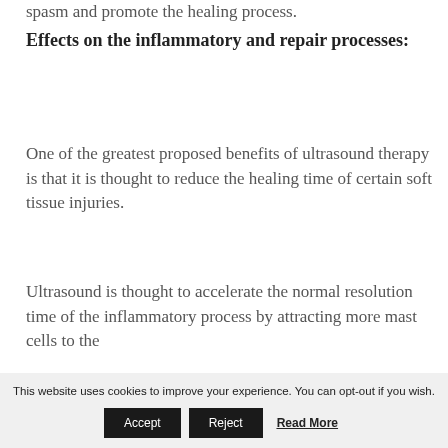spasm and promote the healing process.
Effects on the inflammatory and repair processes:
One of the greatest proposed benefits of ultrasound therapy is that it is thought to reduce the healing time of certain soft tissue injuries.
Ultrasound is thought to accelerate the normal resolution time of the inflammatory process by attracting more mast cells to the
This website uses cookies to improve your experience. You can opt-out if you wish.  Accept  Reject  Read More